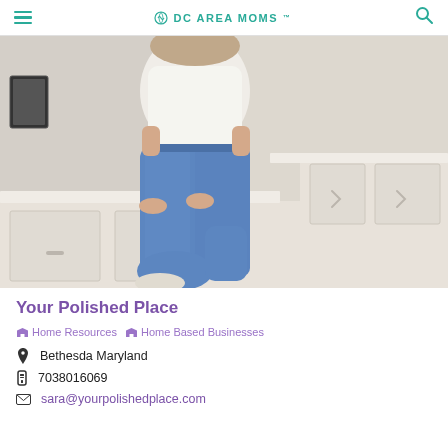DC AREA MOMS
[Figure (photo): Person wearing jeans and white shirt sitting on white kitchen cabinets/counter]
Your Polished Place
Home Resources  Home Based Businesses
Bethesda Maryland
7038016069
sara@yourpolishedplace.com